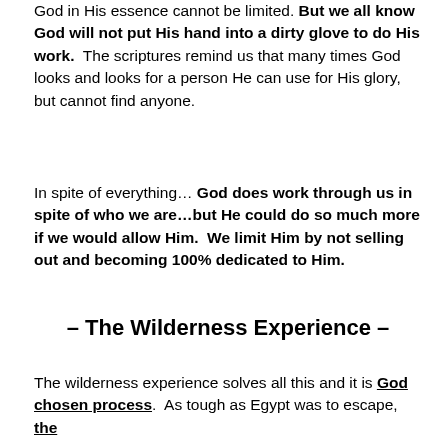God in His essence cannot be limited. But we all know God will not put His hand into a dirty glove to do His work. The scriptures remind us that many times God looks and looks for a person He can use for His glory, but cannot find anyone.
In spite of everything… God does work through us in spite of who we are…but He could do so much more if we would allow Him. We limit Him by not selling out and becoming 100% dedicated to Him.
– The Wilderness Experience –
The wilderness experience solves all this and it is God chosen process. As tough as Egypt was to escape, the